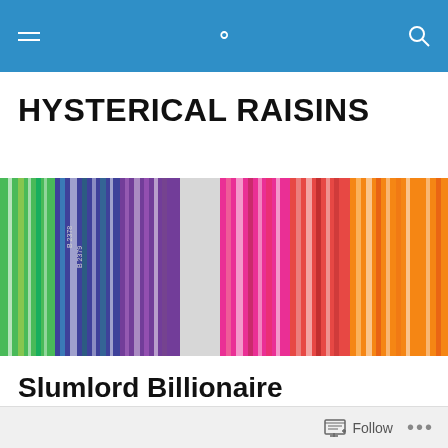Navigation bar with menu and search icons
HYSTERICAL RAISINS
[Figure (photo): Close-up photo of colorful paint or color swatches fanned out, showing green, blue, purple, red, and orange colors with white highlights, blurred background.]
Slumlord Billionaire
Posted by nonnie9999
From SALON:
Follow